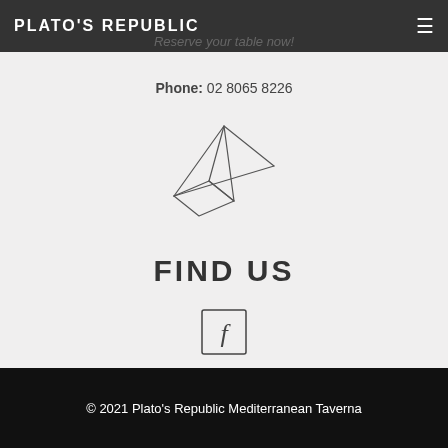PLATO'S REPUBLIC
Reserve your table now!
Phone: 02 8065 8226
[Figure (illustration): Paper airplane / send icon outline illustration]
FIND US
[Figure (logo): Facebook square icon with letter f]
© 2021 Plato's Republic Mediterranean Taverna